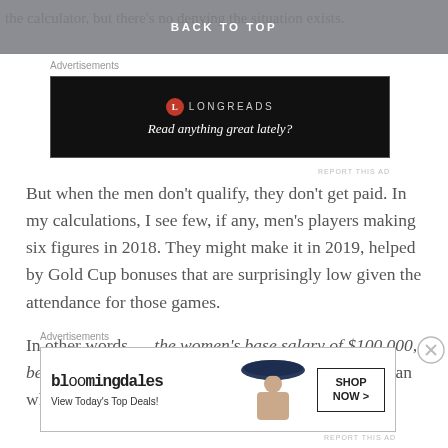BACK TO TOP
the calculator, but there's no denying the situation exists.
Advertisements
[Figure (other): Longreads advertisement banner: black background with Longreads logo (red circle with L) and tagline 'Read anything great lately?']
But when the men don’t qualify, they don’t get paid. In my calculations, I see few, if any, men’s players making six figures in 2018. They might make it in 2019, helped by Gold Cup bonuses that are surprisingly low given the attendance for those games.
In other words — the women’s base salary of $100,000, before any bonuses or game fees are paid, is more than what men will make.
Advertisements
[Figure (other): Bloomingdale's advertisement: white background with stylized logo 'bloomingdales', tagline 'View Today’s Top Deals!', woman in large hat, and 'SHOP NOW >' button]